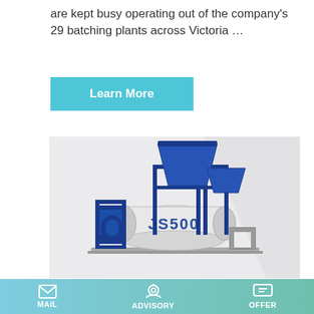are kept busy operating out of the company's 29 batching plants across Victoria …
Learn More
[Figure (photo): Industrial concrete mixer labeled JS500, with blue steel frame and hopper on top, mounted on a base platform]
Mawsons Concrete Plants - Cement
MAIL  ADVISORY  OFFER